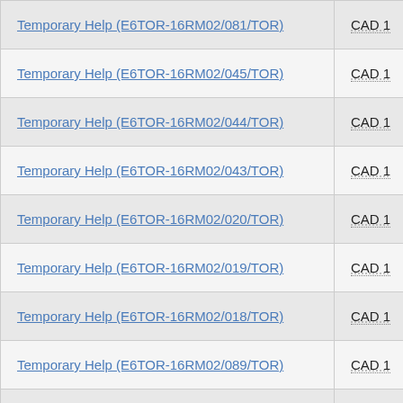| Contract | Currency |
| --- | --- |
| Temporary Help (E6TOR-16RM02/081/TOR) | CAD 1 |
| Temporary Help (E6TOR-16RM02/045/TOR) | CAD 1 |
| Temporary Help (E6TOR-16RM02/044/TOR) | CAD 1 |
| Temporary Help (E6TOR-16RM02/043/TOR) | CAD 1 |
| Temporary Help (E6TOR-16RM02/020/TOR) | CAD 1 |
| Temporary Help (E6TOR-16RM02/019/TOR) | CAD 1 |
| Temporary Help (E6TOR-16RM02/018/TOR) | CAD 1 |
| Temporary Help (E6TOR-16RM02/089/TOR) | CAD 1 |
| Temporary Help (E6TOR-16RM02/104/TOR) | CAD 1 |